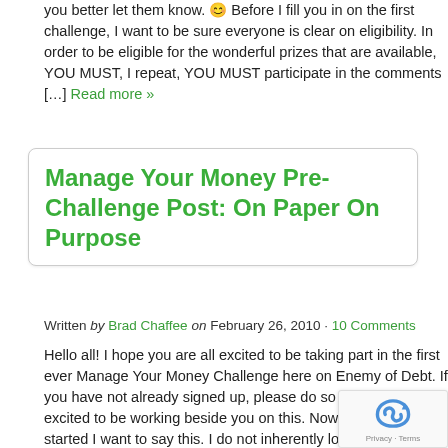you better let them know. 😊 Before I fill you in on the first challenge, I want to be sure everyone is clear on eligibility. In order to be eligible for the wonderful prizes that are available, YOU MUST, I repeat, YOU MUST participate in the comments […] Read more »
Manage Your Money Pre-Challenge Post: On Paper On Purpose
Written by Brad Chaffee on February 26, 2010 · 10 Comments
Hello all! I hope you are all excited to be taking part in the first ever Manage Your Money Challenge here on Enemy of Debt. If you have not already signed up, please do so now. I am excited to be working beside you on this. Now before we get started I want to say this. I do not inherently love budgeting. BUT, there are a lot of things that I have to do in life that do not thrill me but are necessary. So I d… Budgeting can be simple, hard, boring, exciting, … good buddy […] Read more »